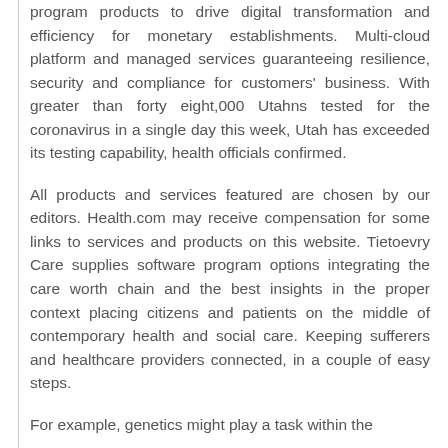program products to drive digital transformation and efficiency for monetary establishments. Multi-cloud platform and managed services guaranteeing resilience, security and compliance for customers' business. With greater than forty eight,000 Utahns tested for the coronavirus in a single day this week, Utah has exceeded its testing capability, health officials confirmed.
All products and services featured are chosen by our editors. Health.com may receive compensation for some links to services and products on this website. Tietoevry Care supplies software program options integrating the care worth chain and the best insights in the proper context placing citizens and patients on the middle of contemporary health and social care. Keeping sufferers and healthcare providers connected, in a couple of easy steps.
For example, genetics might play a task within the